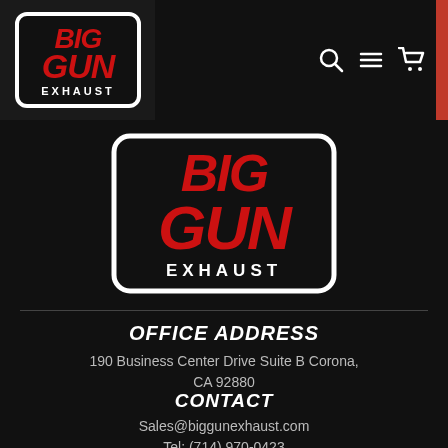[Figure (logo): Big Gun Exhaust logo - small version in top nav bar, white bordered rounded rectangle with red BIG GUN text and white EXHAUST text]
[Figure (logo): Big Gun Exhaust logo - large centered version, white bordered rounded rectangle with red BIG GUN text and white EXHAUST text on black background]
OFFICE ADDRESS
190 Business Center Drive Suite B Corona, CA 92880
CONTACT
Sales@biggunexhaust.com
Tel: (714) 970-0423